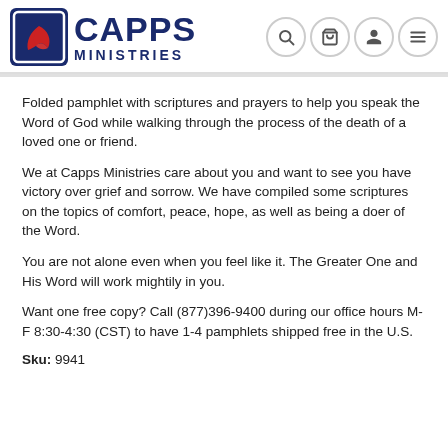[Figure (logo): Capps Ministries logo with red leaf icon on dark blue square background, with CAPPS in large bold navy text and MINISTRIES in smaller spaced navy text]
Folded pamphlet with scriptures and prayers to help you speak the Word of God while walking through the process of the death of a loved one or friend.
We at Capps Ministries care about you and want to see you have victory over grief and sorrow. We have compiled some scriptures on the topics of comfort, peace, hope, as well as being a doer of the Word.
You are not alone even when you feel like it. The Greater One and His Word will work mightily in you.
Want one free copy? Call (877)396-9400 during our office hours M-F 8:30-4:30 (CST) to have 1-4 pamphlets shipped free in the U.S.
Sku: 9941